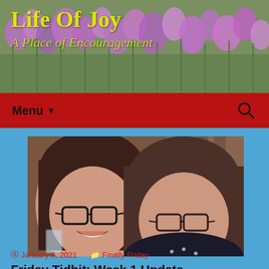Life Of Joy
A Place of Encouragement
Menu
[Figure (photo): Two women smiling together indoors at what appears to be a restaurant or kitchen counter]
Friday Tidbit: Week 1 Update
January 8, 2021    Finally Friday